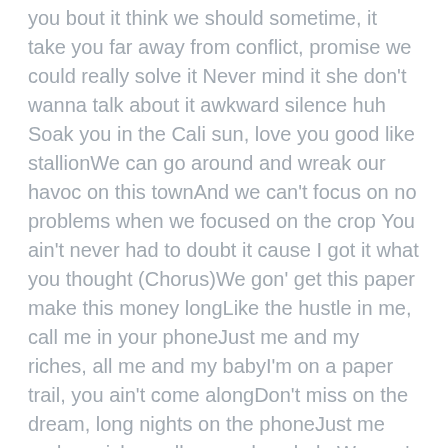you bout it think we should sometime, it take you far away from conflict, promise we could really solve it Never mind it she don't wanna talk about it awkward silence huh Soak you in the Cali sun, love you good like stallionWe can go around and wreak our havoc on this townAnd we can't focus on no problems when we focused on the crop You ain't never had to doubt it cause I got it what you thought (Chorus)We gon' get this paper make this money longLike the hustle in me, call me in your phoneJust me and my riches, all me and my babyI'm on a paper trail, you ain't come alongDon't miss on the dream, long nights on the phoneJust me and my riches, all me and my babyWe gon' get this paper make this money longLike the hustle in me, call me in your phoneJust me and my riches, all me and my babyI'm on a paper trail, you ain't come alongDon't miss on the dream, long nights on the phoneJust me and my riches, all me and my babyWe gon'